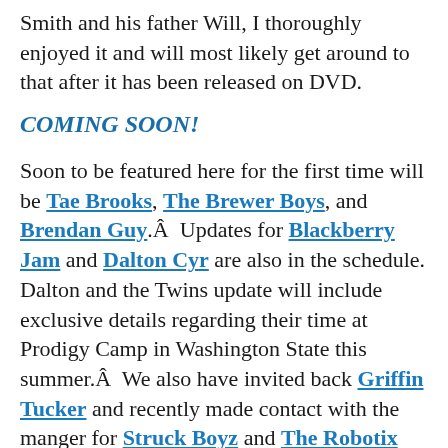Smith and his father Will, I thoroughly enjoyed it and will most likely get around to that after it has been released on DVD.
COMING SOON!
Soon to be featured here for the first time will be Tae Brooks, The Brewer Boys, and Brendan Guy.Â  Updates for Blackberry Jam and Dalton Cyr are also in the schedule. Dalton and the Twins update will include exclusive details regarding their time at Prodigy Camp in Washington State this summer.Â  We also have invited back Griffin Tucker and recently made contact with the manger for Struck Boyz and The Robotix who made their national debut on